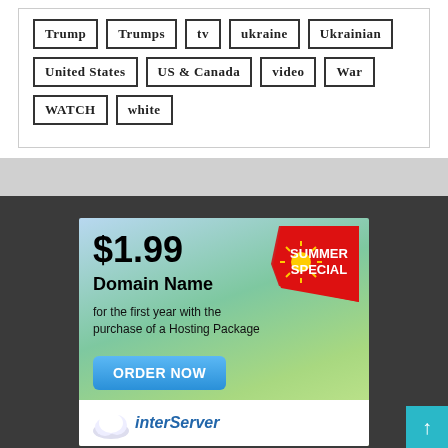Trump | Trumps | tv | ukraine | Ukrainian | United States | US & Canada | video | War | WATCH | white
[Figure (infographic): Advertisement banner for InterServer hosting: $1.99 Domain Name Summer Special for the first year with the purchase of a Hosting Package. Blue gradient background with green bokeh. Red Summer Special sticker badge with sun icon. Blue ORDER NOW button. InterServer logo at bottom.]